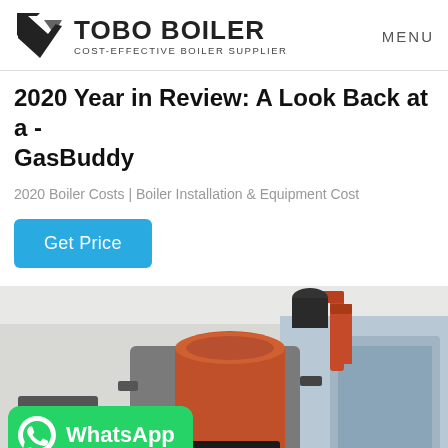TOBO BOILER COST-EFFECTIVE BOILER SUPPLIER | MENU
2020 Year in Review: A Look Back at a - GasBuddy
2020 Boiler Costs | Boiler Installation & Equipment Cost
Get Price
[Figure (photo): Industrial boiler unit with red cylindrical stack and pipes, installed in a facility. A WhatsApp badge overlay is shown in the bottom-left corner.]